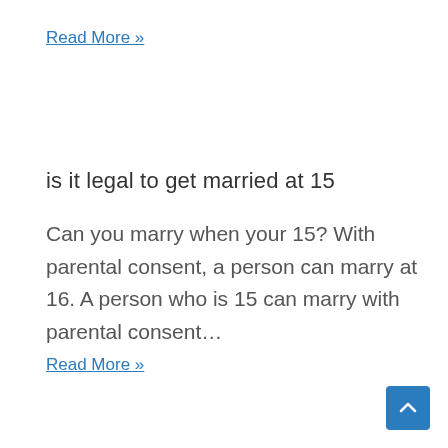Read More »
is it legal to get married at 15
Can you marry when your 15? With parental consent, a person can marry at 16. A person who is 15 can marry with parental consent…
Read More »